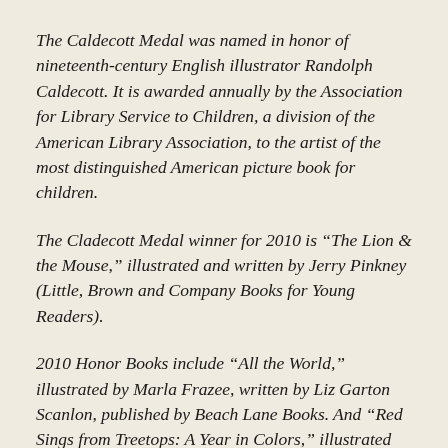The Caldecott Medal was named in honor of nineteenth-century English illustrator Randolph Caldecott. It is awarded annually by the Association for Library Service to Children, a division of the American Library Association, to the artist of the most distinguished American picture book for children.
The Cladecott Medal winner for 2010 is "The Lion & the Mouse," illustrated and written by Jerry Pinkney (Little, Brown and Company Books for Young Readers).
2010 Honor Books include "All the World," illustrated by Marla Frazee, written by Liz Garton Scanlon, published by Beach Lane Books. And "Red Sings from Treetops: A Year in Colors," illustrated by Pamela Zagarenski, written by Joyce Sidman,